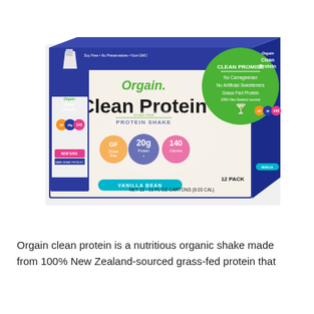[Figure (photo): Orgain Clean Protein Grass Fed Protein Shake Vanilla Bean 12-pack box. The blue and white box features the Orgain logo in green, 'Clean Protein' in large black text, and a green circle with 'CLEAN PROMISE' listing No Carrageenan, No Artificial Sweeteners, Grass Fed Protein 100% New Zealand Sourced. Front shows GF badge, 20g Protein, 140 Calories badges, and 'VANILLA BEAN' label. Net 12 - 11 fl oz cartons (8.03 CAL).]
Orgain clean protein is a nutritious organic shake made from 100% New Zealand-sourced grass-fed protein that